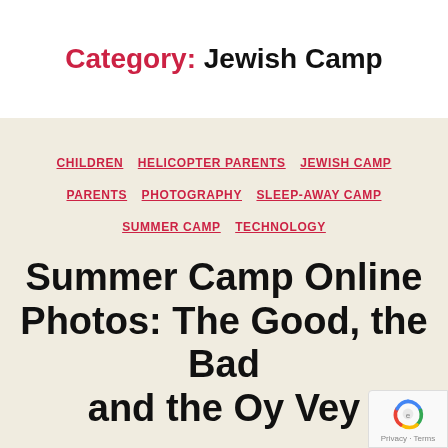Category: Jewish Camp
CHILDREN  HELICOPTER PARENTS  JEWISH CAMP  PARENTS  PHOTOGRAPHY  SLEEP-AWAY CAMP  SUMMER CAMP  TECHNOLOGY
Summer Camp Online Photos: The Good, the Bad and the Oy Vey
By Rabbi Jason Miller  August 30, 20…